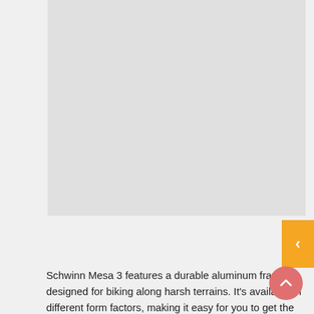[Figure (photo): Gray placeholder rectangle representing a product image of the Schwinn Mesa 3 bicycle]
Schwinn Mesa 3 features a durable aluminum frame, designed for biking along harsh terrains. It's available in different form factors, making it easy for you to get the fit one. Besides, it features a Shimano Tourney Drivetrain with Shimano EZ-FIRE shifters, providing accurate shifting at high speeds. Its front suspension fork also works to keep you comfortable during bumpy sections of a trail and also abate tiredness.
With all the basic components, you are ready to go. It also offers 21 gears, streamlined rim brakes, and wide tires for top-notch grip on any unpaved road. Its design is also chic with an eye-catching red finish. Currently retailed at $579.99, it's a steal at this price for what it supports your cycling. Grab it now...